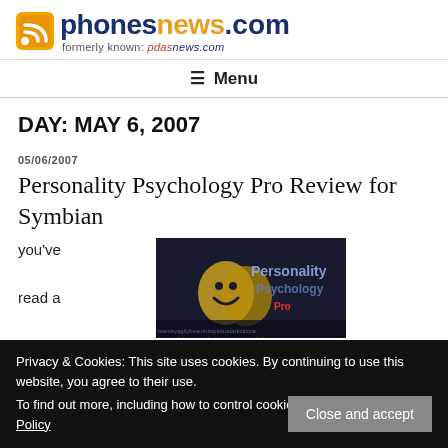[Figure (logo): phonesnews.com logo with RSS icon, formerly known as pdasnews.com]
≡ Menu
DAY: MAY 6, 2007
05/06/2007
Personality Psychology Pro Review for Symbian
[Figure (screenshot): Dark background screenshot showing Personality Psychology app logo with comedy/tragedy masks and stylized text]
you've read a magazin
Privacy & Cookies: This site uses cookies. By continuing to use this website, you agree to their use.
To find out more, including how to control cookies, see here: Cookie Policy
Close and accept